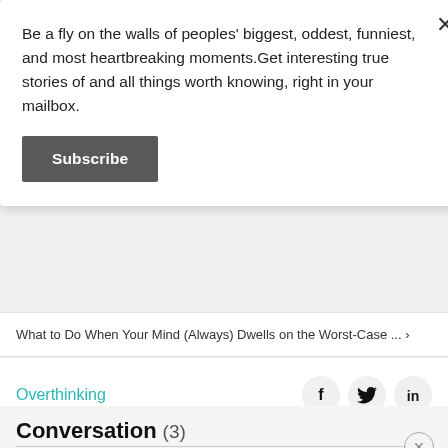Be a fly on the walls of peoples' biggest, oddest, funniest, and most heartbreaking moments.Get interesting true stories of and all things worth knowing, right in your mailbox.
Subscribe
What to Do When Your Mind (Always) Dwells on the Worst-Case ... ›
Overthinking
Conversation (3)
When has overthinking saved you?